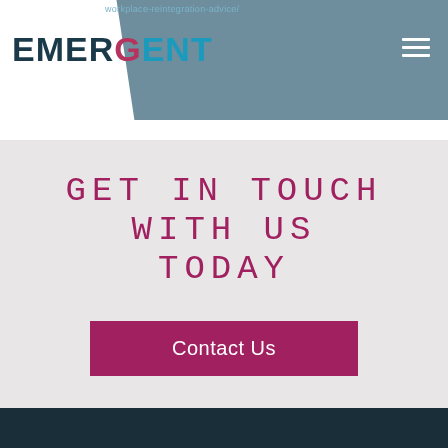workplace-reintegration-advice/
[Figure (logo): EMERGENT logo with EMER in dark navy, G in magenta/pink, ENT in teal/cyan, on white background with teal nav bar behind]
GET IN TOUCH WITH US TODAY
Contact Us